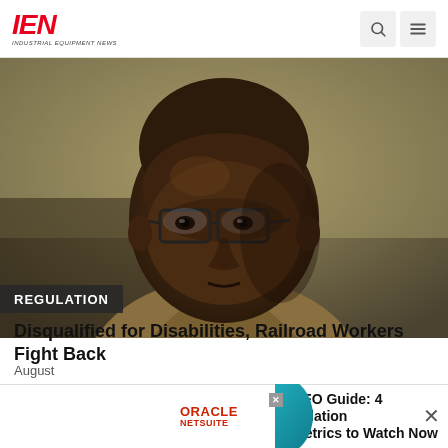IEN INDUSTRIAL EQUIPMENT NEWS
[Figure (photo): Close-up portrait of a bald Black man wearing glasses, looking off to the side, wearing a tan/beige jacket. Background is muted olive/tan.]
REGULATION
Disqualified for Disabilities, Railroad Workers Fight Back
The federal lawsuits could prove costly to Union Pacific
August
[Figure (screenshot): Advertisement banner: Oracle NetSuite logo on left, divider, text 'CFO Guide: 4 Inflation Metrics to Watch Now', teal graphic accent on right, X close buttons.]